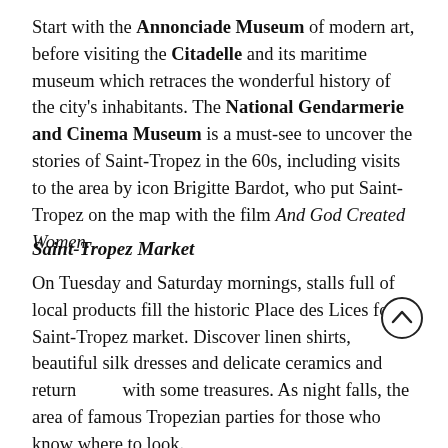Start with the Annonciade Museum of modern art, before visiting the Citadelle and its maritime museum which retraces the wonderful history of the city's inhabitants. The National Gendarmerie and Cinema Museum is a must-see to uncover the stories of Saint-Tropez in the 60s, including visits to the area by icon Brigitte Bardot, who put Saint-Tropez on the map with the film And God Created Women.
Saint-Tropez Market
On Tuesday and Saturday mornings, stalls full of local products fill the historic Place des Lices for Saint-Tropez market. Discover linen shirts, beautiful silk dresses and delicate ceramics and return with some treasures. As night falls, the area of famous Tropezian parties for those who know where to look.